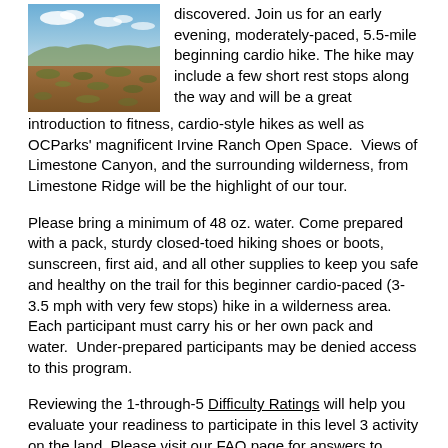[Figure (photo): Landscape photo of an open wilderness area with scrubby terrain, dry hills, and blue sky with clouds.]
discovered. Join us for an early evening, moderately-paced, 5.5-mile beginning cardio hike. The hike may include a few short rest stops along the way and will be a great introduction to fitness, cardio-style hikes as well as OCParks' magnificent Irvine Ranch Open Space.  Views of Limestone Canyon, and the surrounding wilderness, from Limestone Ridge will be the highlight of our tour.
Please bring a minimum of 48 oz. water. Come prepared with a pack, sturdy closed-toed hiking shoes or boots, sunscreen, first aid, and all other supplies to keep you safe and healthy on the trail for this beginner cardio-paced (3-3.5 mph with very few stops) hike in a wilderness area. Each participant must carry his or her own pack and water.  Under-prepared participants may be denied access to this program.
Reviewing the 1-through-5 Difficulty Ratings will help you evaluate your readiness to participate in this level 3 activity on the land. Please visit our FAQ page for answers to activity specific questions you may have prior to registering.